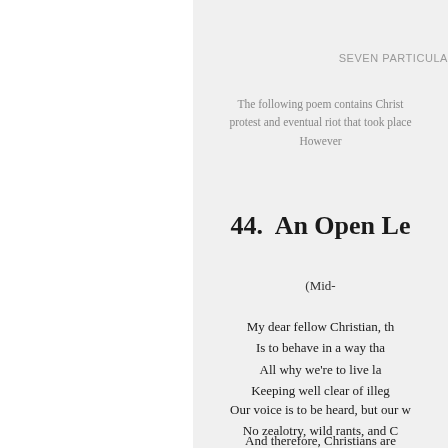SEVEN PARTICULA
The following poem contains Christ protest and eventual riot that took place However
44.  An Open Le
(Mid-
My dear fellow Christian, th Is to behave in a way tha All why we're to live la Keeping well clear of illeg
Our voice is to be heard, but our w No zealotry, wild rants, and C In other words, Christ wants h Nor lone rangers, who in His name
And therefore, Christians are They not causing any trouble All why they shouldn't be stirro